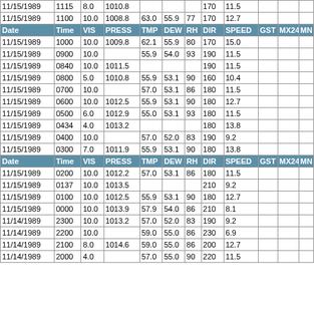| Date | Time | VIS | PRESS | TMP | DEW | RH | DIR | SPEED | GST | MX24 | MN |
| --- | --- | --- | --- | --- | --- | --- | --- | --- | --- | --- | --- |
| 11/15/1989 | 1115 | 8.0 | 1010.8 |  |  |  | 170 | 11.5 |  |  |  |
| 11/15/1989 | 1100 | 10.0 | 1008.8 | 63.0 | 55.9 | 77 | 170 | 12.7 |  |  |  |
| HEADER |  |  |  |  |  |  |  |  |  |  |  |
| 11/15/1989 | 1000 | 10.0 | 1009.8 | 62.1 | 55.9 | 80 | 170 | 15.0 |  |  |  |
| 11/15/1989 | 0900 | 10.0 |  | 55.9 | 54.0 | 93 | 190 | 11.5 |  |  |  |
| 11/15/1989 | 0840 | 10.0 | 1011.5 |  |  |  | 190 | 11.5 |  |  |  |
| 11/15/1989 | 0800 | 5.0 | 1010.8 | 55.9 | 53.1 | 90 | 160 | 10.4 |  |  |  |
| 11/15/1989 | 0700 | 10.0 |  | 57.0 | 53.1 | 86 | 180 | 11.5 |  |  |  |
| 11/15/1989 | 0600 | 10.0 | 1012.5 | 55.9 | 53.1 | 90 | 180 | 12.7 |  |  |  |
| 11/15/1989 | 0500 | 6.0 | 1012.9 | 55.0 | 53.1 | 93 | 180 | 11.5 |  |  |  |
| 11/15/1989 | 0434 | 4.0 | 1013.2 |  |  |  | 180 | 13.8 |  |  |  |
| 11/15/1989 | 0400 | 10.0 |  | 57.0 | 52.0 | 83 | 190 | 9.2 |  |  |  |
| 11/15/1989 | 0300 | 7.0 | 1011.9 | 55.9 | 53.1 | 90 | 180 | 13.8 |  |  |  |
| HEADER |  |  |  |  |  |  |  |  |  |  |  |
| 11/15/1989 | 0200 | 10.0 | 1012.2 | 57.0 | 53.1 | 86 | 180 | 11.5 |  |  |  |
| 11/15/1989 | 0137 | 10.0 | 1013.5 |  |  |  | 210 | 9.2 |  |  |  |
| 11/15/1989 | 0100 | 10.0 | 1012.5 | 55.9 | 53.1 | 90 | 180 | 12.7 |  |  |  |
| 11/15/1989 | 0000 | 10.0 | 1013.9 | 57.9 | 54.0 | 86 | 210 | 8.1 |  |  |  |
| 11/14/1989 | 2300 | 10.0 | 1013.2 | 57.0 | 52.0 | 83 | 190 | 9.2 |  |  |  |
| 11/14/1989 | 2200 | 10.0 |  | 59.0 | 55.0 | 86 | 230 | 6.9 |  |  |  |
| 11/14/1989 | 2100 | 8.0 | 1014.6 | 59.0 | 55.0 | 86 | 200 | 12.7 |  |  |  |
| 11/14/1989 | 2000 | 4.0 |  | 57.0 | 55.0 | 90 | 220 | 11.5 |  |  |  |